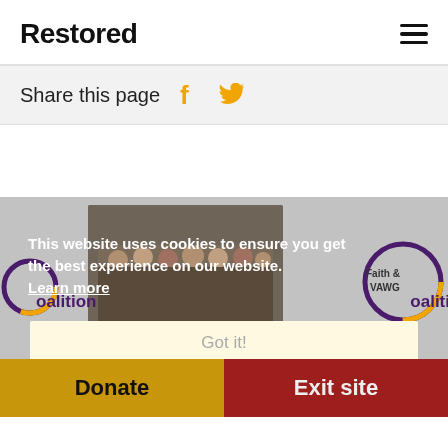Restored
Share this page
This website uses cookies to ensure you get the best experience on our website.
Learn more
Got it!
Donate
Exit site